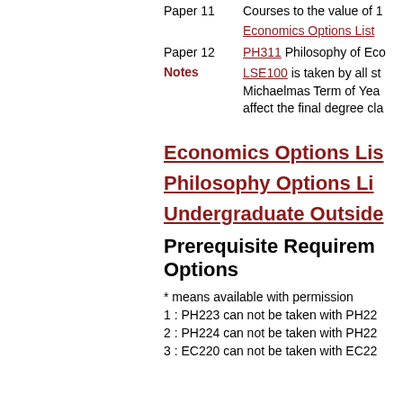Paper 11   Courses to the value of 1
Economics Options List
Paper 12   PH311 Philosophy of Eco
Notes   LSE100 is taken by all st Michaelmas Term of Yea affect the final degree cla
Economics Options Lis
Philosophy Options Li
Undergraduate Outside
Prerequisite Requirements Options
* means available with permission
1 : PH223 can not be taken with PH22
2 : PH224 can not be taken with PH22
3 : EC220 can not be taken with EC22